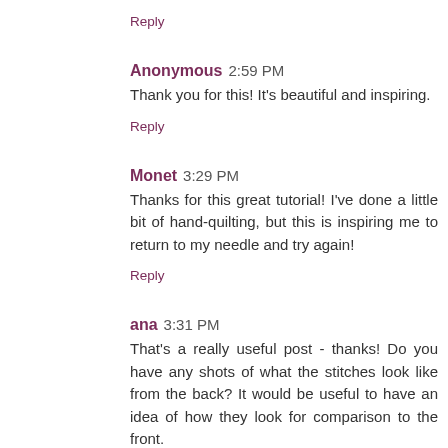Reply
Anonymous  2:59 PM
Thank you for this! It's beautiful and inspiring.
Reply
Monet  3:29 PM
Thanks for this great tutorial! I've done a little bit of hand-quilting, but this is inspiring me to return to my needle and try again!
Reply
ana  3:31 PM
That's a really useful post - thanks! Do you have any shots of what the stitches look like from the back? It would be useful to have an idea of how they look for comparison to the front.